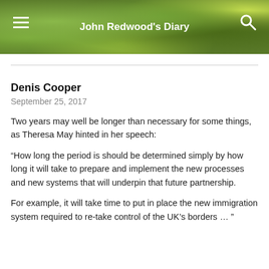John Redwood's Diary
Denis Cooper
September 25, 2017
Two years may well be longer than necessary for some things, as Theresa May hinted in her speech:
“How long the period is should be determined simply by how long it will take to prepare and implement the new processes and new systems that will underpin that future partnership.
For example, it will take time to put in place the new immigration system required to re-take control of the UK’s borders … ”